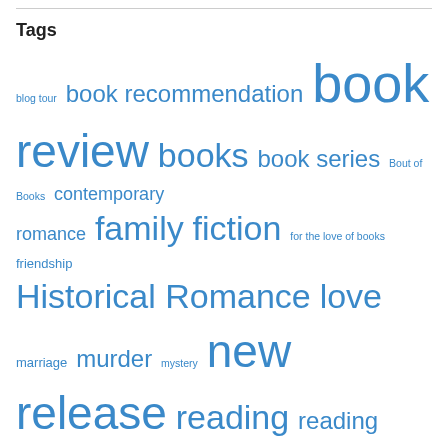Tags
[Figure (infographic): Tag cloud with blog-related tags in various font sizes in blue: blog tour (small), book recommendation (large), book review (very large), books (large), book series (medium), Bout of Books (small), contemporary romance (medium), family (large), fiction (large), for the love of books (small), friendship (small), Historical Romance (large), love (large), marriage (small), murder (large), mystery (small), new release (large), reading (large), reading challenge (medium), Romance (very large), romance series (small), status (small), Suspense (medium), thriller (medium), update (medium)]
Calendar of Posts